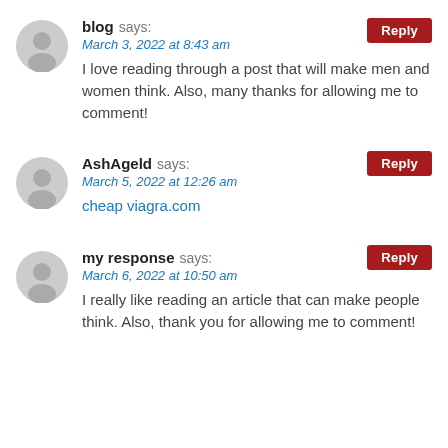blog says: March 3, 2022 at 8:43 am
I love reading through a post that will make men and women think. Also, many thanks for allowing me to comment!
Reply
AshAgeld says: March 5, 2022 at 12:26 am
cheap viagra.com
Reply
my response says: March 6, 2022 at 10:50 am
I really like reading an article that can make people think. Also, thank you for allowing me to comment!
Reply